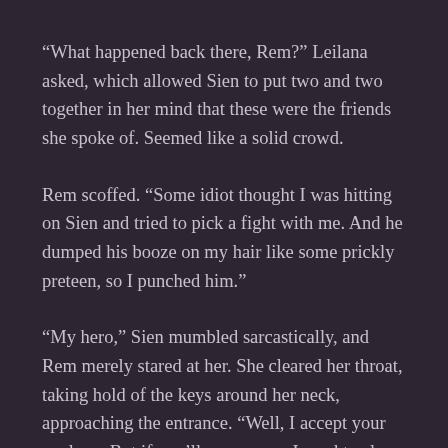“What happened back there, Rem?” Leilana asked, which allowed Sien to put two and two together in her mind that these were the friends she spoke of. Seemed like a solid crowd.
Rem scoffed. “Some idiot thought I was hitting on Sien and tried to pick a fight with me. And he dumped his booze on my hair like some prickly preteen, so I punched him.”
“My hero,” Sien mumbled sarcastically, and Rem merely stared at her. She cleared her throat, taking hold of the keys around her neck, approaching the entrance. “Well, I accept your apology. But if you’ll excuse me, I need to close for the night, and you’ll need to leave.”
“Wait, there’s something I wanted to ask,” Solus